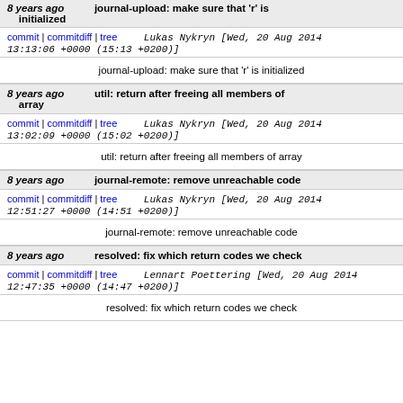8 years ago   journal-upload: make sure that 'r' is initialized
commit | commitdiff | tree   Lukas Nykryn [Wed, 20 Aug 2014 13:13:06 +0000 (15:13 +0200)]
journal-upload: make sure that 'r' is initialized
8 years ago   util: return after freeing all members of array
commit | commitdiff | tree   Lukas Nykryn [Wed, 20 Aug 2014 13:02:09 +0000 (15:02 +0200)]
util: return after freeing all members of array
8 years ago   journal-remote: remove unreachable code
commit | commitdiff | tree   Lukas Nykryn [Wed, 20 Aug 2014 12:51:27 +0000 (14:51 +0200)]
journal-remote: remove unreachable code
8 years ago   resolved: fix which return codes we check
commit | commitdiff | tree   Lennart Poettering [Wed, 20 Aug 2014 12:47:35 +0000 (14:47 +0200)]
resolved: fix which return codes we check